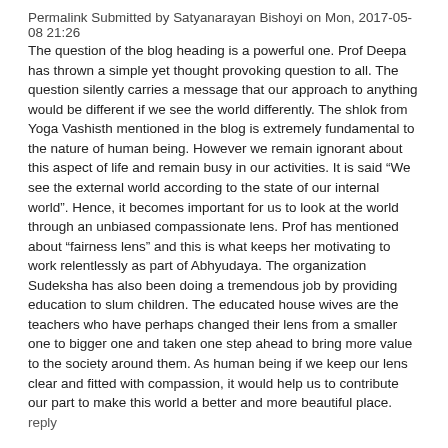Permalink Submitted by Satyanarayan Bishoyi on Mon, 2017-05-08 21:26
The question of the blog heading is a powerful one. Prof Deepa has thrown a simple yet thought provoking question to all. The question silently carries a message that our approach to anything would be different if we see the world differently. The shlok from Yoga Vashisth mentioned in the blog is extremely fundamental to the nature of human being. However we remain ignorant about this aspect of life and remain busy in our activities. It is said “We see the external world according to the state of our internal world”. Hence, it becomes important for us to look at the world through an unbiased compassionate lens. Prof has mentioned about “fairness lens” and this is what keeps her motivating to work relentlessly as part of Abhyudaya. The organization Sudeksha has also been doing a tremendous job by providing education to slum children. The educated house wives are the teachers who have perhaps changed their lens from a smaller one to bigger one and taken one step ahead to bring more value to the society around them. As human being if we keep our lens clear and fitted with compassion, it would help us to contribute our part to make this world a better and more beautiful place.
reply
A photographer’s perspective
Permalink Submitted by Tryambak Pramanick on Mon, 2017-05-08 21:29
This blog truly captivates my thoughts and reminds me a very similar situation which I experienced and from which I derived a very similar